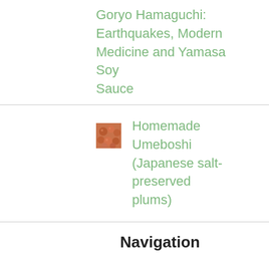Goryo Hamaguchi: Earthquakes, Modern Medicine and Yamasa Soy Sauce
[Figure (photo): Thumbnail photo of umeboshi (Japanese salt-preserved plums) - small reddish-brown plums]
Homemade Umeboshi (Japanese salt-preserved plums)
Navigation
Dining Out in Japan
Just Hungry reference handbooks
Special themes and events